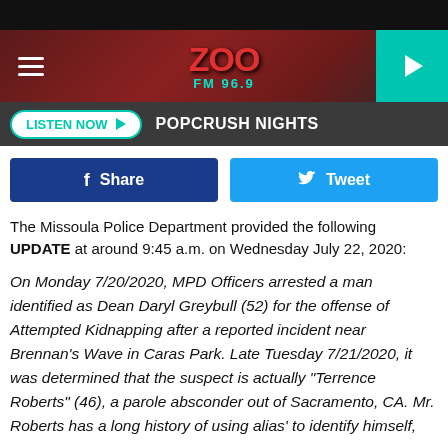[Figure (logo): ZOO FM 96.9 radio station header with hamburger menu, logo, and teal play button]
LISTEN NOW ▶  POPCRUSH NIGHTS
[Figure (infographic): Social share buttons: Facebook Share and Twitter Tweet]
The Missoula Police Department provided the following UPDATE at around 9:45 a.m. on Wednesday July 22, 2020:
On Monday 7/20/2020, MPD Officers arrested a man identified as Dean Daryl Greybull (52) for the offense of Attempted Kidnapping after a reported incident near Brennan's Wave in Caras Park. Late Tuesday 7/21/2020, it was determined that the suspect is actually "Terrence Roberts" (46), a parole absconder out of Sacramento, CA. Mr. Roberts has a long history of using alias' to identify himself,